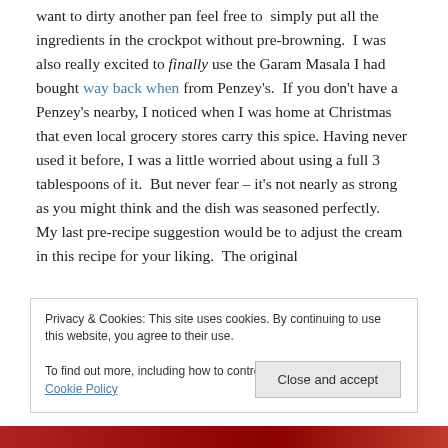want to dirty another pan feel free to simply put all the ingredients in the crockpot without pre-browning. I was also really excited to finally use the Garam Masala I had bought way back when from Penzey's. If you don't have a Penzey's nearby, I noticed when I was home at Christmas that even local grocery stores carry this spice. Having never used it before, I was a little worried about using a full 3 tablespoons of it. But never fear – it's not nearly as strong as you might think and the dish was seasoned perfectly. My last pre-recipe suggestion would be to adjust the cream in this recipe for your liking. The original
Privacy & Cookies: This site uses cookies. By continuing to use this website, you agree to their use. To find out more, including how to control cookies, see here: Cookie Policy
Close and accept